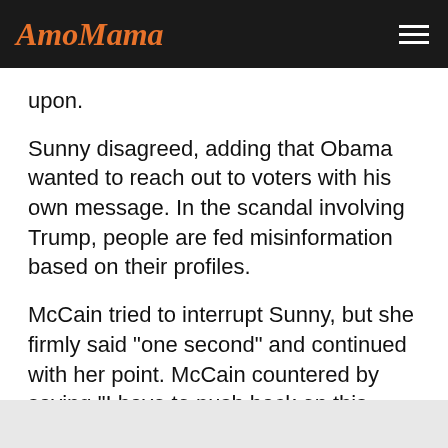AmoMama
upon.
Sunny disagreed, adding that Obama wanted to reach out to voters with his own message. In the scandal involving Trump, people are fed misinformation based on their profiles.
McCain tried to interrupt Sunny, but she firmly said "one second" and continued with her point. McCain countered by saying "I have to push back on this because that's fake news."
Sunny said she needed to finish her thought, and that was when Whoopi Goldberg stepped in. Goldberg said she wanted to hear both opinions, but she can't do that when they talk at the same time.